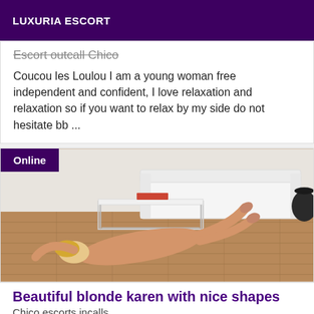LUXURIA ESCORT
Escort outcall Chico
Coucou les Loulou I am a young woman free independent and confident, I love relaxation and relaxation so if you want to relax by my side do not hesitate bb ...
[Figure (photo): Photo of a blonde woman lying on a hardwood floor in a modern living room with a white sofa and coffee table. An 'Online' badge appears in the top left corner.]
Beautiful blonde karen with nice shapes
Chico escorts incalls